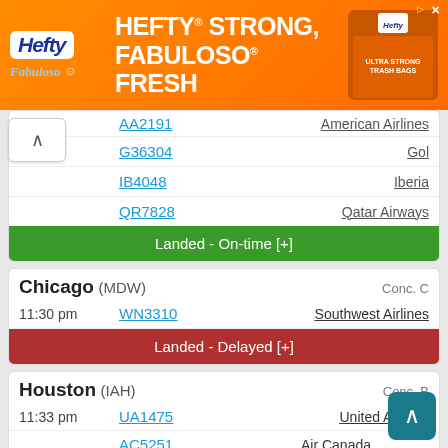[Figure (screenshot): Hefty advertisement banner: orange background with Hefty logo, Fabuloso logo, text HEFTY STRONG, FABULOSO FRESH, and product image]
| Time | Flight | Airline |
| --- | --- | --- |
| ~pm | AA2191 | American Airlines |
|  | G36304 | Gol |
|  | IB4048 | Iberia |
|  | QR7828 | Qatar Airways |
Landed - On-time [+]
Chicago (MDW)   Conc. C
| Time | Flight | Airline |
| --- | --- | --- |
| 11:30 pm | WN3310 | Southwest Airlines |
Landed - Delayed [+]
Houston (IAH)   Conc. B
| Time | Flight | Airline |
| --- | --- | --- |
| 11:33 pm | UA1475 | United Airlines |
|  | AC5251 | Air Canada |
|  | NZ6494 | Air New Zealand |